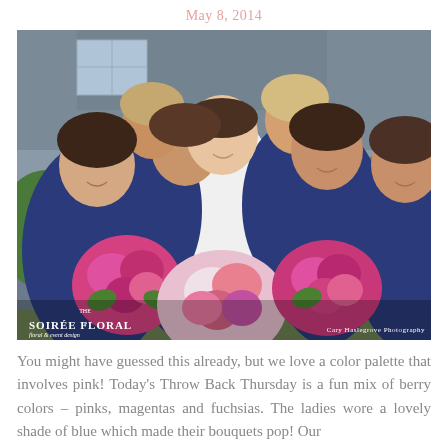May 8, 2014
[Figure (photo): Wedding party photo showing a bride in a white strapless gown surrounded by bridesmaids in navy blue dresses, all holding large bouquets of pink, magenta, and fuchsia flowers. Watermarks read 'Soirée Floral floral & event design' and 'Cary Haslegrove Photography'.]
You might have guessed this already, but we love a color palette that involves pink! Today's Throw Back Thursday is a fun mix of berry colors – pinks, magentas and fuchsias. The ladies wore a lovely shade of blue which made their bouquets pop! Our